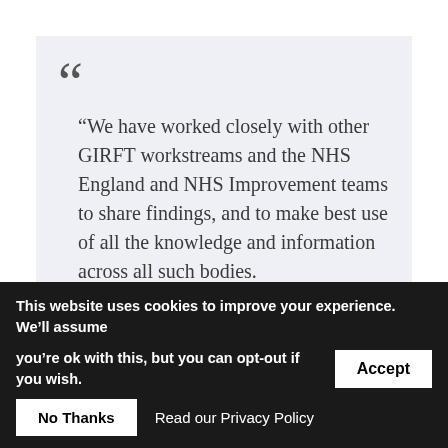“We have worked closely with other GIRFT workstreams and the NHS England and NHS Improvement teams to share findings, and to make best use of all the knowledge and information across all such bodies.
“After sharing their data with the trust teams, we will then work out the key learning points for them. Our regional GIRFT hubs will then support them to make improvements and share good practice from other trusts.”
2 December 2019
This website uses cookies to improve your experience. We’ll assume you’re ok with this, but you can opt-out if you wish. Accept | No Thanks | Read our Privacy Policy